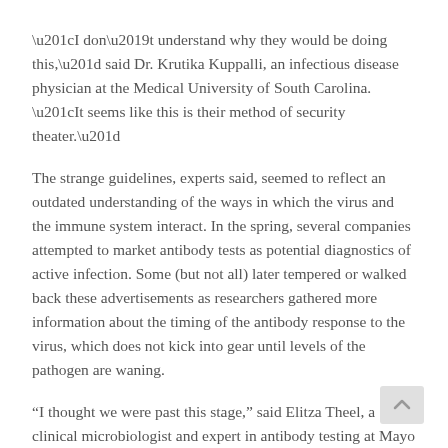“I don’t understand why they would be doing this,” said Dr. Krutika Kuppalli, an infectious disease physician at the Medical University of South Carolina. “It seems like this is their method of security theater.”
The strange guidelines, experts said, seemed to reflect an outdated understanding of the ways in which the virus and the immune system interact. In the spring, several companies attempted to market antibody tests as potential diagnostics of active infection. Some (but not all) later tempered or walked back these advertisements as researchers gathered more information about the timing of the antibody response to the virus, which does not kick into gear until levels of the pathogen are waning.
“I thought we were past this stage,” said Elitza Theel, a clinical microbiologist and expert in antibody testing at Mayo Clinic in Rochester, Minn. Guidelines from the Centers for Disease Control and Prevention describe antibody positives as a generally poor proxy for the presence of active virus in the